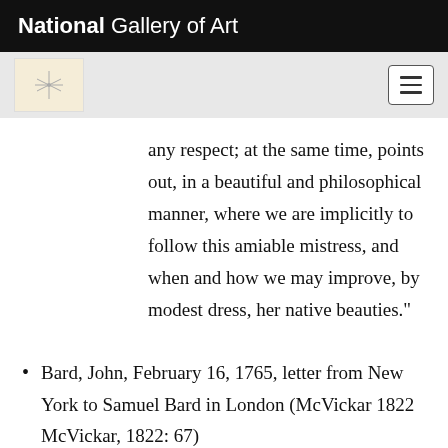National Gallery of Art
any respect; at the same time, points out, in a beautiful and philosophical manner, where we are implicitly to follow this amiable mistress, and when and how we may improve, by modest dress, her native beauties."
Bard, John, February 16, 1765, letter from New York to Samuel Bard in London (McVickar 1822 McVickar, 1822: 67)
"With respect to your dedication to the gover... Cadwallader Colden,]. I wish you to remember, he